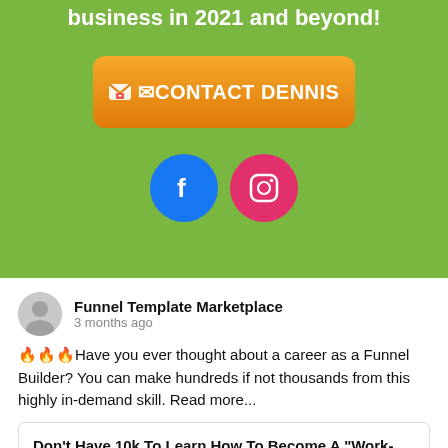business in 2021 and beyond!
[Figure (illustration): Orange gradient 'CONTACT DENNIS' button with envelope emoji icon]
[Figure (illustration): Facebook and Instagram social media icon buttons (blue circle with f, pink circle with camera)]
Funnel Template Marketplace
3 months ago
🔥🔥🔥Have you ever thought about a career as a Funnel Builder? You can make hundreds if not thousands from this highly in-demand skill. Read more...
Don't Have 10k To Learn How To Become A "Work-